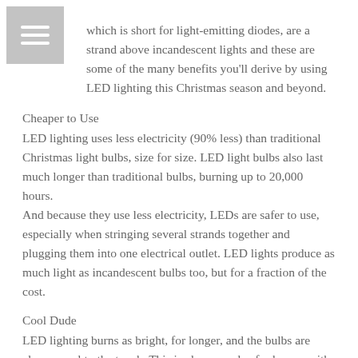which is short for light-emitting diodes, are a strand above incandescent lights and these are some of the many benefits you'll derive by using LED lighting this Christmas season and beyond.
Cheaper to Use
LED lighting uses less electricity (90% less) than traditional Christmas light bulbs, size for size. LED light bulbs also last much longer than traditional bulbs, burning up to 20,000 hours.
And because they use less electricity, LEDs are safer to use, especially when stringing several strands together and plugging them into one electrical outlet. LED lights produce as much light as incandescent bulbs too, but for a fraction of the cost.
Cool Dude
LED lighting burns as bright, for longer, and the bulbs are always cool to the touch. This is always a plus for homes with small children and pets, even though the lights are conceivably and intentionally placed out of their reach, sometimes the overly curious toddler or pet can find a way to get a-hold of the twinkling lights. No fear of burns if that happens, and